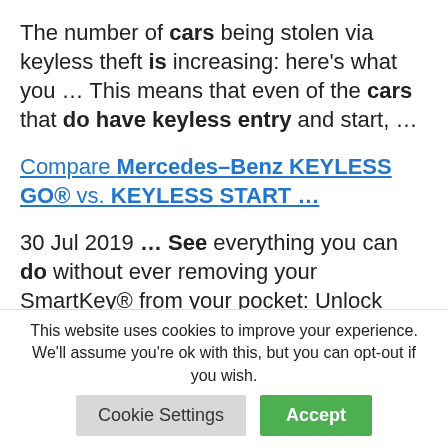The number of cars being stolen via keyless theft is increasing: here's what you … This means that even of the cars that do have keyless entry and start, …
Compare Mercedes–Benz KEYLESS GO® vs. KEYLESS START …
30 Jul 2019 … See everything you can do without ever removing your SmartKey® from your pocket: Unlock
This website uses cookies to improve your experience. We'll assume you're ok with this, but you can opt-out if you wish.